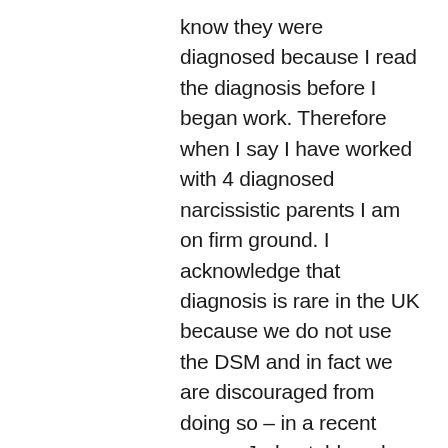know they were diagnosed because I read the diagnosis before I began work. Therefore when I say I have worked with 4 diagnosed narcissistic parents I am on firm ground. I acknowledge that diagnosis is rare in the UK because we do not use the DSM and in fact we are discouraged from doing so – in a recent case a Judge told me he didn't like diagnosis, he prefers formulation thank you very much. Amy's work is important but those are self